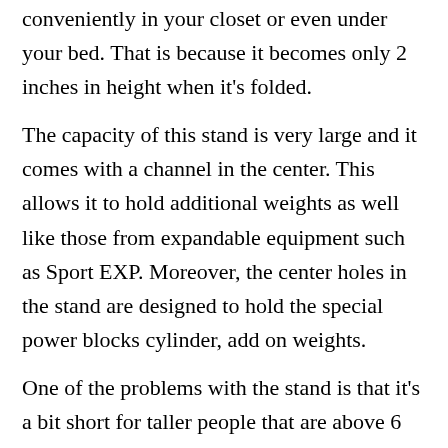conveniently in your closet or even under your bed. That is because it becomes only 2 inches in height when it's folded.
The capacity of this stand is very large and it comes with a channel in the center. This allows it to hold additional weights as well like those from expandable equipment such as Sport EXP. Moreover, the center holes in the stand are designed to hold the special power blocks cylinder, add on weights.
One of the problems with the stand is that it's a bit short for taller people that are above 6 feet. If you are that tall, you have to bend over quite a